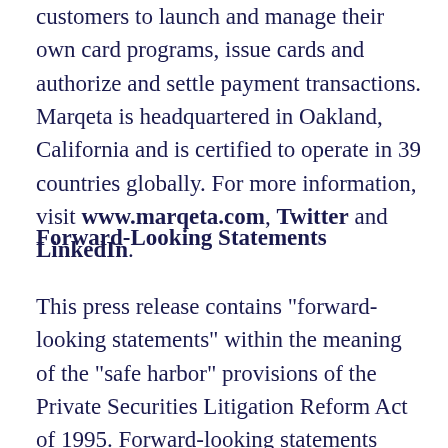customers to launch and manage their own card programs, issue cards and authorize and settle payment transactions. Marqeta is headquartered in Oakland, California and is certified to operate in 39 countries globally. For more information, visit www.marqeta.com, Twitter and LinkedIn.
Forward-Looking Statements
This press release contains "forward-looking statements" within the meaning of the "safe harbor" provisions of the Private Securities Litigation Reform Act of 1995. Forward-looking statements expressed or implied in this press release include, but are not limited to, quotations and statements relating to faster live issuance timelines and speed to market for APIs...